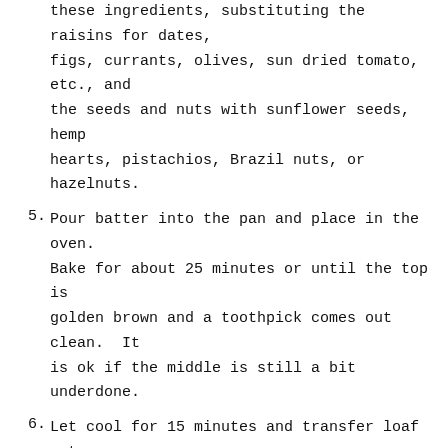these ingredients, substituting the raisins for dates, figs, currants, olives, sun dried tomato, etc., and the seeds and nuts with sunflower seeds, hemp hearts, pistachios, Brazil nuts, or hazelnuts.
5. Pour batter into the pan and place in the oven. Bake for about 25 minutes or until the top is golden brown and a toothpick comes out clean.  It is ok if the middle is still a bit underdone.
6. Let cool for 15 minutes and transfer loaf onto a cooling rack. Once cooled, transfer loaf to the freezer and leave for at least 1 hour or overnight.
7. When ready, preheat oven to 275 F / 135 C. Remove the loaf from the freezer and slice as thinly as possible.  I found a really sharp chef's knife works better than a serrated bread knife.